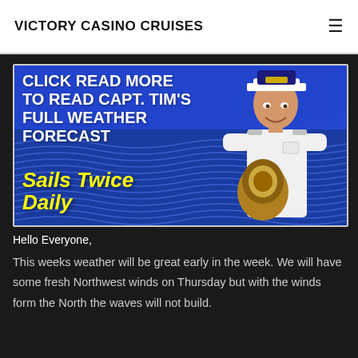VICTORY CASINO CRUISES
[Figure (illustration): Promotional banner image with blue background and wave pattern. Text reads 'CLICK READ MORE TO READ CAPT. TIM'S FULL WEATHER FORECAST' in white bold uppercase, and 'Sails Twice Daily' in yellow italic bold. A ship captain in white uniform holds a ship's compass/binnacle on the right side of the image.]
Hello Everyone,
This weeks weather will be great early in the week. We will have some fresh Northwest winds on Thursday but with the winds form the North the waves will not build.